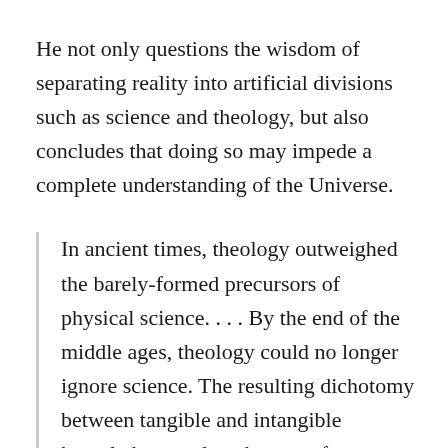He not only questions the wisdom of separating reality into artificial divisions such as science and theology, but also concludes that doing so may impede a complete understanding of the Universe.
In ancient times, theology outweighed the barely-formed precursors of physical science. . . . By the end of the middle ages, theology could no longer ignore science. The resulting dichotomy between tangible and intangible knowledge perplexed many of our own great scholars—none greater than Rambam